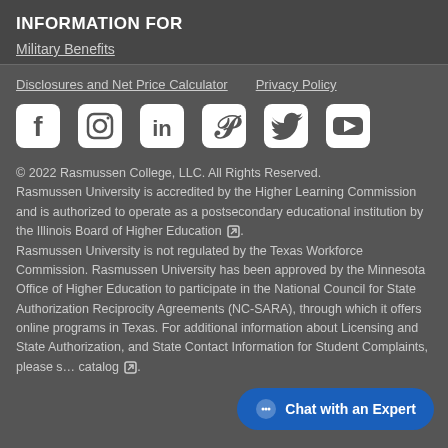INFORMATION FOR
Military Benefits
Disclosures and Net Price Calculator    Privacy Policy
[Figure (illustration): Row of social media icons: Facebook, Instagram, LinkedIn, Pinterest, Twitter, YouTube]
© 2022 Rasmussen College, LLC. All Rights Reserved. Rasmussen University is accredited by the Higher Learning Commission and is authorized to operate as a postsecondary educational institution by the Illinois Board of Higher Education. Rasmussen University is not regulated by the Texas Workforce Commission. Rasmussen University has been approved by the Minnesota Office of Higher Education to participate in the National Council for State Authorization Reciprocity Agreements (NC-SARA), through which it offers online programs in Texas. For additional information about Licensing and State Authorization, and State Contact Information for Student Complaints, please s… catalog.
Chat with an Expert